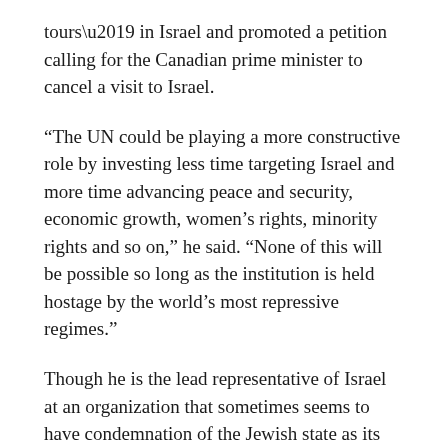tours’ in Israel and promoted a petition calling for the Canadian prime minister to cancel a visit to Israel.
“The UN could be playing a more constructive role by investing less time targeting Israel and more time advancing peace and security, economic growth, women’s rights, minority rights and so on,” he said. “None of this will be possible so long as the institution is held hostage by the world’s most repressive regimes.”
Though he is the lead representative of Israel at an organization that sometimes seems to have condemnation of the Jewish state as its primary mission, Prosor insists he is not intimidated.
“I walk the halls of this organization tall and proud of my extraordinary nation, one of the freest and